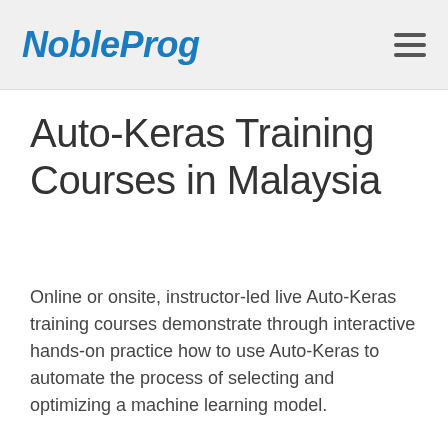NobleProg
Auto-Keras Training Courses in Malaysia
Online or onsite, instructor-led live Auto-Keras training courses demonstrate through interactive hands-on practice how to use Auto-Keras to automate the process of selecting and optimizing a machine learning model.